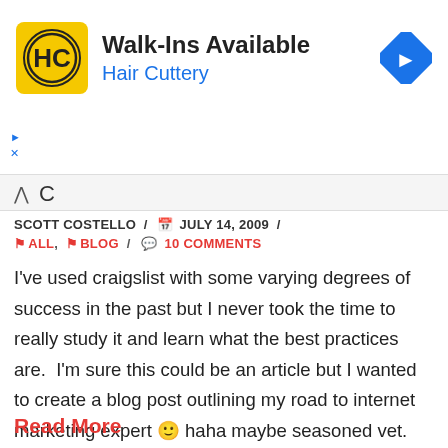[Figure (logo): Hair Cuttery advertisement banner with HC logo, 'Walk-Ins Available' headline, 'Hair Cuttery' subtitle in blue, and a blue navigation arrow icon on the right]
SCOTT COSTELLO / JULY 14, 2009 /
ALL, BLOG / 10 COMMENTS
I've used craigslist with some varying degrees of success in the past but I never took the time to really study it and learn what the best practices are.  I'm sure this could be an article but I wanted to create a blog post outlining my road to internet marketing expert 🙂 haha maybe seasoned vet.  I'm going to create a blog that deals with my local area real estate and start advertising using craigslist.  I will post my progress ...
Read More